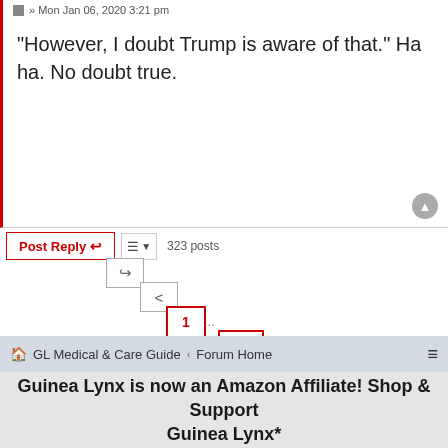» Mon Jan 06, 2020 3:21 pm
"However, I doubt Trump is aware of that." Ha ha. No doubt true.
Post Reply
323 posts
1 ... 12 13 14 15 16 17 >
Jump to
GL Medical & Care Guide  ‹  Forum Home
Guinea Lynx is now an Amazon Affiliate! Shop & Support Guinea Lynx*